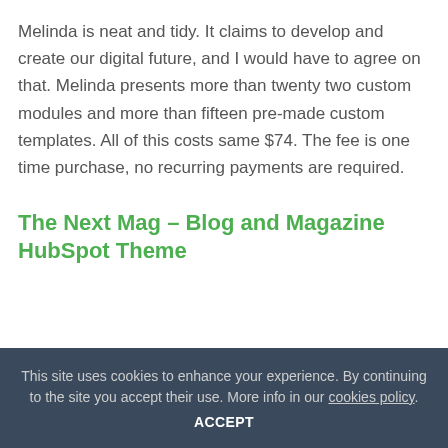Melinda is neat and tidy. It claims to develop and create our digital future, and I would have to agree on that. Melinda presents more than twenty two custom modules and more than fifteen pre-made custom templates. All of this costs same $74. The fee is one time purchase, no recurring payments are required.
The Next Mag – Blog and Magazine HubSpot Theme
This site uses cookies to enhance your experience. By continuing to the site you accept their use. More info in our cookies policy. ACCEPT